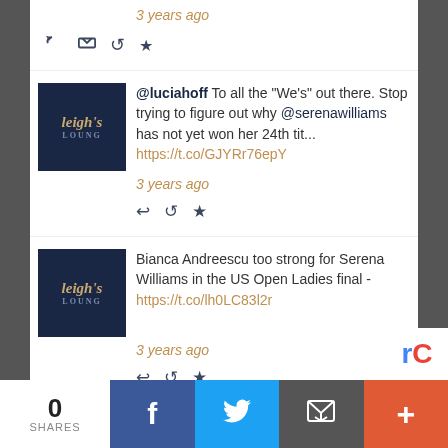3 years ago
@luciahoff To all the “We’s” out there. Stop trying to figure out why @serenawilliams has not yet won her 24th tit... https://t.co/GJYRr76epY
3 years ago
Bianca Andreescu too strong for Serena Williams in the US Open Ladies final - https://t.co/lh0LC83l2r
3 years ago
Follow @leighslounge  835 followers
0 SHARES